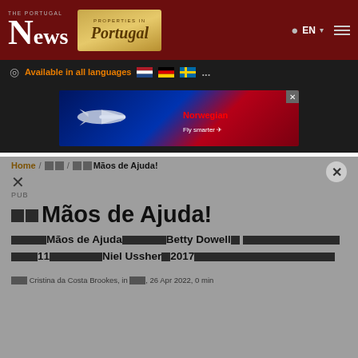The Portugal News
[Figure (logo): Properties in Portugal advertisement badge]
Available in all languages
[Figure (photo): Norwegian Air or similar airline advertisement banner]
Home / □□ / □□Mãos de Ajuda!
□□Mãos de Ajuda!
PUB
□□□□Mãos de Ajuda□□□□□Betty Dowell□ □□□□□□□□□□□□□□11□□□□□□Niel Ussher□2017□□□□□□□□□□□□□□□□□
□□ Cristina da Costa Brookes, in □□, 26 Apr 2022, 0 min